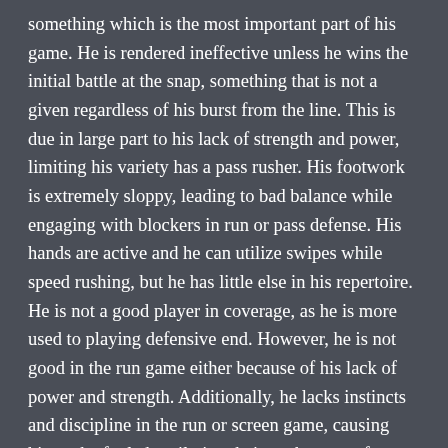something which is the most important part of his game. He is rendered ineffective unless he wins the initial battle at the snap, something that is not a given regardless of his burst from the line. This is due in large part to his lack of strength and power, limiting his variety has a pass rusher. His footwork is extremely sloppy, leading to bad balance while engaging with blockers in run or pass defense. His hands are active and he can utilize swipes while speed rushing, but he has little else in his repertoire. He is not a good player in coverage, as he is more used to playing defensive end. However, he is not good in the run game either because of his lack of power and strength. Additionally, he lacks instincts and discipline in the run or screen game, causing him to be fooled easily into being taken out of a play.